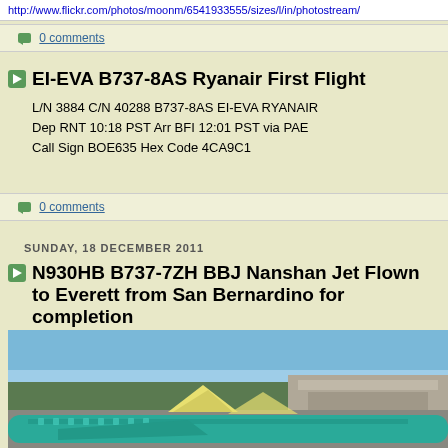http://www.flickr.com/photos/moonm/6541933555/sizes/l/in/photostream/
0 comments
EI-EVA B737-8AS Ryanair First Flight
L/N 3884 C/N 40288 B737-8AS EI-EVA RYANAIR
Dep RNT 10:18 PST Arr BFI 12:01 PST via PAE
Call Sign BOE635 Hex Code 4CA9C1
0 comments
SUNDAY, 18 DECEMBER 2011
N930HB B737-7ZH BBJ Nanshan Jet Flown to Everett from San Bernardino for completion
[Figure (photo): Photo of a teal/turquoise Boeing 737 BBJ aircraft on the ground at an airport, with tail fins visible, trees and a building in the background, blue sky above.]